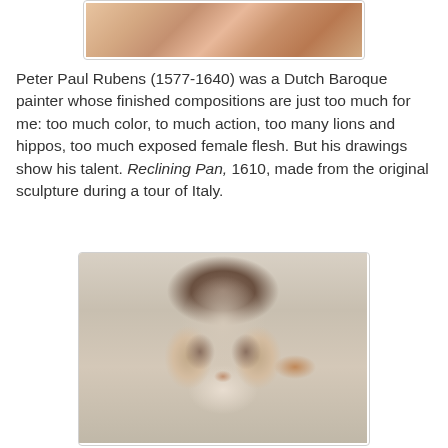[Figure (photo): Partial view of a Rubens artwork showing warm reddish-orange tones, cropped at top of page]
Peter Paul Rubens (1577-1640) was a Dutch Baroque painter whose finished compositions are just too much for me: too much color, to much action, too many lions and hippos, too much exposed female flesh. But his drawings show his talent. Reclining Pan, 1610, made from the original sculpture during a tour of Italy.
[Figure (photo): Rubens chalk drawing portrait of a woman with dark hair, detailed facial features, wearing a light garment with collar and necklace]